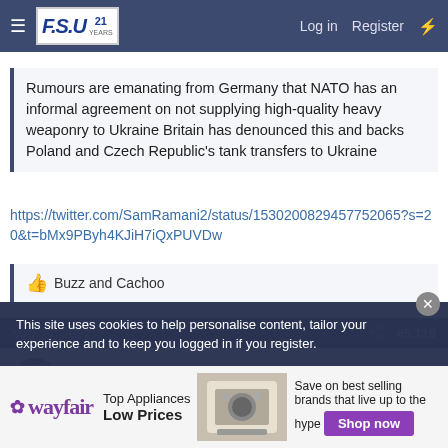FSU | Log in | Register
Rumours are emanating from Germany that NATO has an informal agreement on not supplying high-quality heavy weaponry to Ukraine Britain has denounced this and backs Poland and Czech Republic's tank transfers to Ukraine
https://twitter.com/SamRamani2/status/1530200829457752065?s=20&t=bMx9PByh4KJiH7iQxPUVDw
👍 Buzz and Cachoo
May 27, 2022  #5,115
cholla
This site uses cookies to help personalise content, tailor your experience and to keep you logged in if you register.
[Figure (screenshot): Wayfair advertisement banner: Top Appliances Low Prices, Save on best selling brands that live up to the hype, Shop now button]